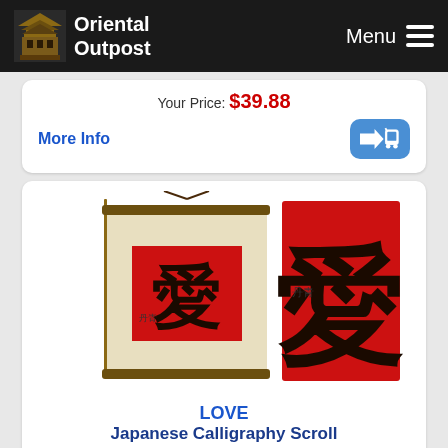Oriental Outpost Menu
Your Price: $39.88
More Info
[Figure (photo): Japanese calligraphy scroll showing the character for LOVE in black on a red background, next to a close-up of the same character on red paper]
LOVE Japanese Calligraphy Scroll
Gallery Price: $65.00
Your Price: $39.88
More Info